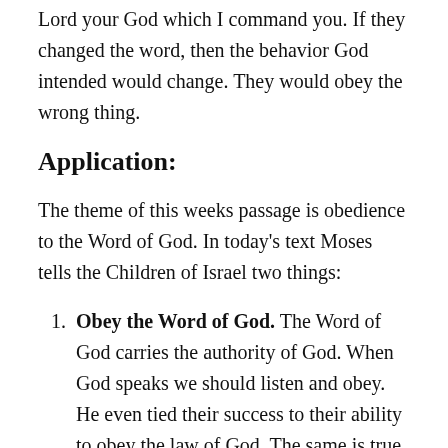Lord your God which I command you. If they changed the word, then the behavior God intended would change. They would obey the wrong thing.
Application:
The theme of this weeks passage is obedience to the Word of God. In today's text Moses tells the Children of Israel two things:
Obey the Word of God. The Word of God carries the authority of God. When God speaks we should listen and obey. He even tied their success to their ability to obey the law of God. The same is true for us. If we listen and obey, God will bless that obedience. This does not mean we will have